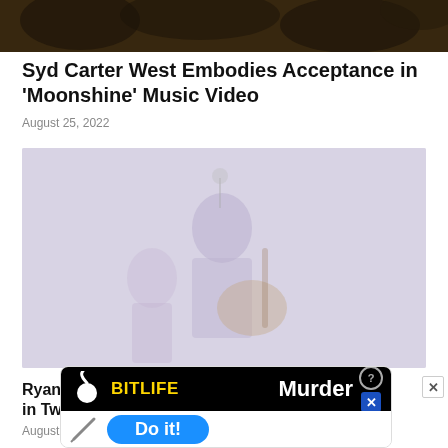[Figure (photo): Top portion of article image showing dark foliage or hair, cropped at top of page]
Syd Carter West Embodies Acceptance in ‘Moonshine’ Music Video
August 25, 2022
[Figure (photo): Faded/washed out photo of a person playing guitar on stage, light purple/lavender tones]
Ryan Lee Crosby Has His Foot in Two Worlds
August
[Figure (screenshot): BitLife mobile game advertisement banner showing 'Murder Do it!' with yellow logo text and blue button]